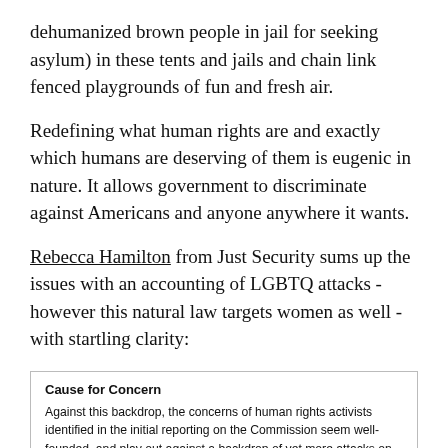dehumanized brown people in jail for seeking asylum) in these tents and jails and chain link fenced playgrounds of fun and fresh air.
Redefining what human rights are and exactly which humans are deserving of them is eugenic in nature. It allows government to discriminate against Americans and anyone anywhere it wants.
Rebecca Hamilton from Just Security sums up the issues with an accounting of LGBTQ attacks - however this natural law targets women as well - with startling clarity:
Cause for Concern
Against this backdrop, the concerns of human rights activists identified in the initial reporting on the Commission seem well-founded, and play out against a backdrop of yet more attacks on LGBTQ communities globally. Anti-gay purges that began in